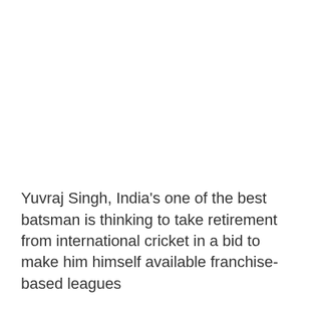Yuvraj Singh, India's one of the best batsman is thinking to take retirement from international cricket in a bid to make him himself available franchise-based leagues